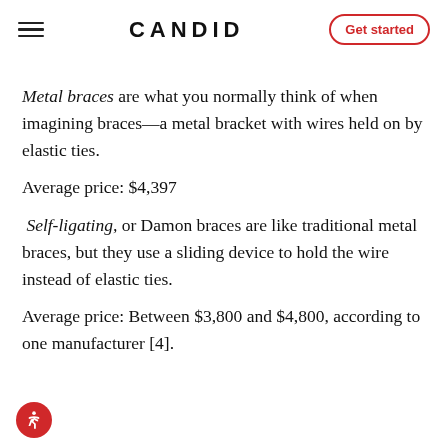CANDID | Get started
Metal braces are what you normally think of when imagining braces—a metal bracket with wires held on by elastic ties.
Average price: $4,397
Self-ligating, or Damon braces are like traditional metal braces, but they use a sliding device to hold the wire instead of elastic ties.
Average price: Between $3,800 and $4,800, according to one manufacturer [4].